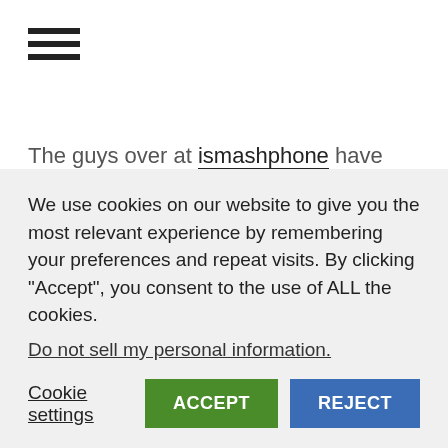[Figure (other): Hamburger menu icon with three horizontal lines]
The guys over at ismashphone have taken a look at what iPhone game controllers are available on the market and here's what they come up with, the good, the not so good, and the bad of iPhone gaming controllers.
iPhone gaming controllers such as the "Game Controller Grip" which resembles a more traditional game pad are basically cheap
We use cookies on our website to give you the most relevant experience by remembering your preferences and repeat visits. By clicking "Accept", you consent to the use of ALL the cookies.
Do not sell my personal information.
Cookie settings  ACCEPT  REJECT